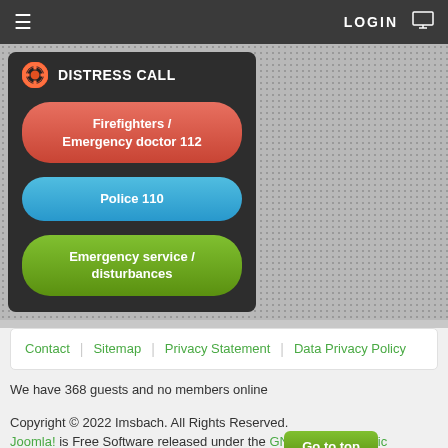≡  LOGIN  🖥
🔴 DISTRESS CALL
Firefighters / Emergency doctor 112
Police 110
Emergency service / disturbances
Contact | Sitemap | Privacy Statement | Data Privacy Policy
We have 368 guests and no members online
Copyright © 2022 Imsbach. All Rights Reserved.
Joomla! is Free Software released under the GNU General Public License.
Go to top